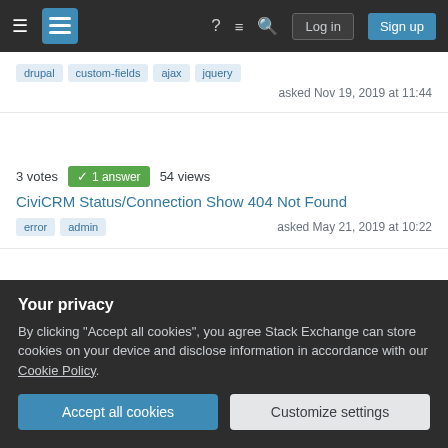Stack Exchange navigation — hamburger menu, logo, help, chat, search, Log in, Sign up
Tags: drupal, custom-fields, ajax, jquery — asked Nov 19, 2019 at 11:44
3 votes · 1 answer · 54 views — CiviCRM Status/Connection Show 404 Not Found — Tags: error, admin — asked May 21, 2019 at 10:22
2 votes · 1 answer · 54 views — Link Contact Type with Drupal Roles
Your privacy
By clicking "Accept all cookies", you agree Stack Exchange can store cookies on your device and disclose information in accordance with our Cookie Policy.
Accept all cookies | Customize settings